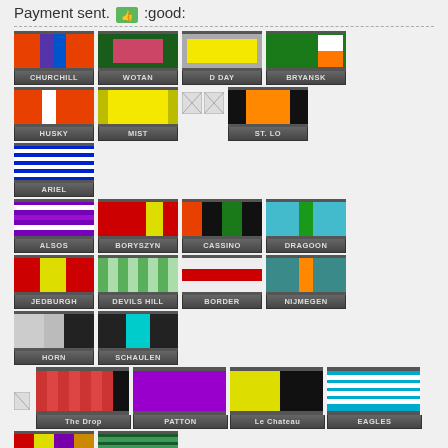Payment sent. :good:
[Figure (infographic): Grid of military scenario/campaign badge images labeled: CHURCHILL, WOTAN, D DAY, BRYANSK, HUSKY, MIST, ST. LO, ARIEL, ALSOS, BORYSZYN, CASSINO, DRAGOON, JEDBURGH, DEVILS HILL, BORDER, NIJMEGEN, HORN, SCHAULEN, The Drop, PATTON, Le Chateau, EAGLES, Grafton, Merville]
When I want your opinion - I'll tell you what it